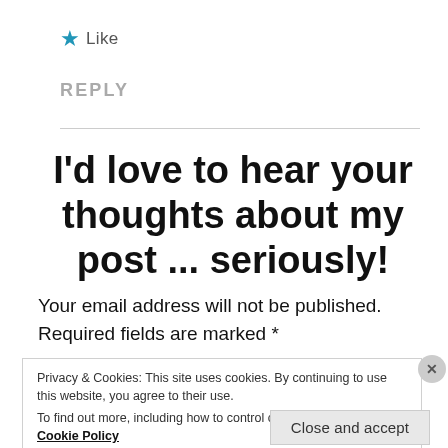★ Like
REPLY
I'd love to hear your thoughts about my post ... seriously!
Your email address will not be published. Required fields are marked *
Privacy & Cookies: This site uses cookies. By continuing to use this website, you agree to their use.
To find out more, including how to control cookies, see here: Cookie Policy
Close and accept